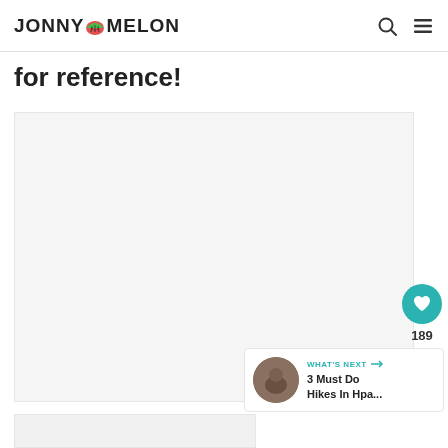JONNY MELON
for reference!
[Figure (photo): Large light gray image placeholder area]
189
WHAT'S NEXT → 3 Must Do Hikes In Hpa...
[Figure (photo): Bottom strip image placeholder]